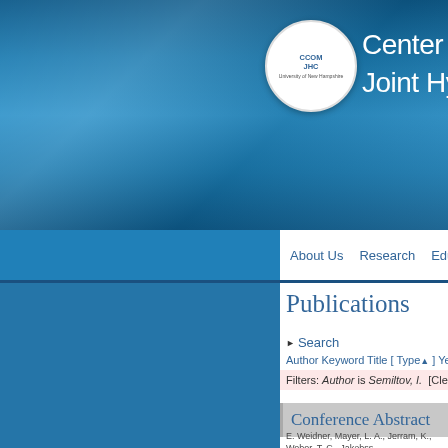Center for Coastal & Ocean Mapping / Joint Hydrographic Center (CCOM JHC)
Publications
▶ Search
Author Keyword Title [ Type▲ ] Year
Filters: Author is Semiltov, I.  [Clear All Filters]
Conference Abstract
E. Weidner, Mayer, L. A., Jerram, K., Weber, T. C., Jakobss...
Signatures of Gas Seeps on the East Siberian Mar...
M. Jakobsson, Anderson, L., Backman, J., Barrientos, N., B... Mörth, C. - M., Nilsson, J., Noormets, R., O'Regan, M. A., ... Results from the SWERUS-C3 P...